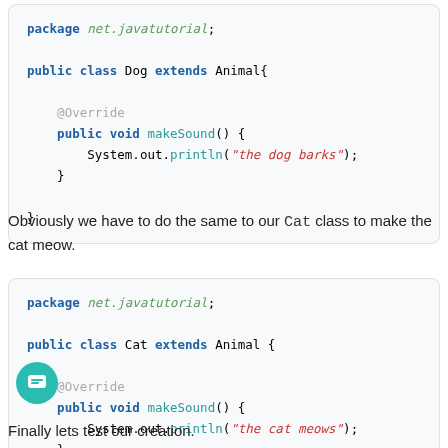[Figure (screenshot): Code block showing Dog class extending Animal with makeSound() method that prints 'the dog barks']
Obviously we have to do the same to our Cat class to make the cat meow.
[Figure (screenshot): Code block showing Cat class extending Animal with makeSound() method that prints 'the cat meows']
Finally lets test our creation.